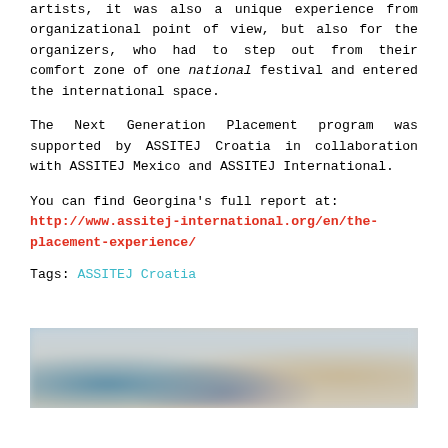artists, it was also a unique experience from organizational point of view, but also for the organizers, who had to step out from their comfort zone of one national festival and entered the international space.
The Next Generation Placement program was supported by ASSITEJ Croatia in collaboration with ASSITEJ Mexico and ASSITEJ International.
You can find Georgina's full report at: http://www.assitej-international.org/en/the-placement-experience/
Tags: ASSITEJ Croatia
[Figure (photo): Blurred photograph showing a room or performance space with indistinct figures, blue and beige tones]